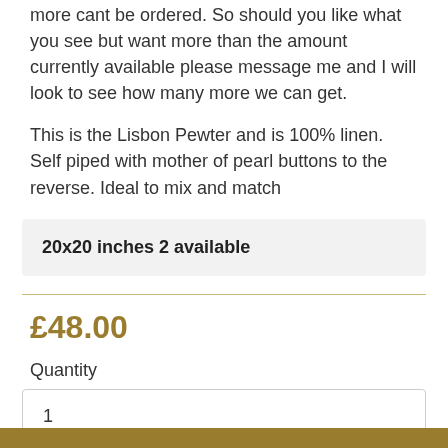more cant be ordered. So should you like what you see but want more than the amount currently available please message me and I will look to see how many more we can get.
This is the Lisbon Pewter and is 100% linen. Self piped with mother of pearl buttons to the reverse. Ideal to mix and match
20x20 inches 2 available
£48.00
Quantity
1